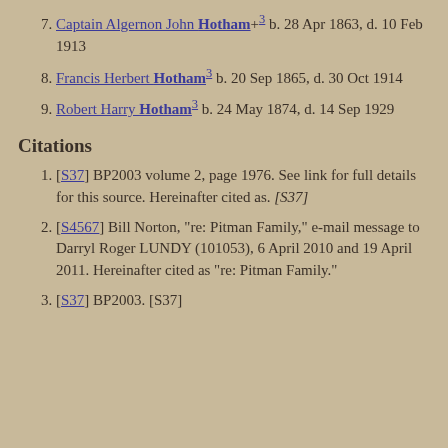7. Captain Algernon John Hotham+3 b. 28 Apr 1863, d. 10 Feb 1913
8. Francis Herbert Hotham3 b. 20 Sep 1865, d. 30 Oct 1914
9. Robert Harry Hotham3 b. 24 May 1874, d. 14 Sep 1929
Citations
[S37] BP2003 volume 2, page 1976. See link for full details for this source. Hereinafter cited as. [S37]
[S4567] Bill Norton, "re: Pitman Family," e-mail message to Darryl Roger LUNDY (101053), 6 April 2010 and 19 April 2011. Hereinafter cited as "re: Pitman Family."
[S37] BP2003. [S37]